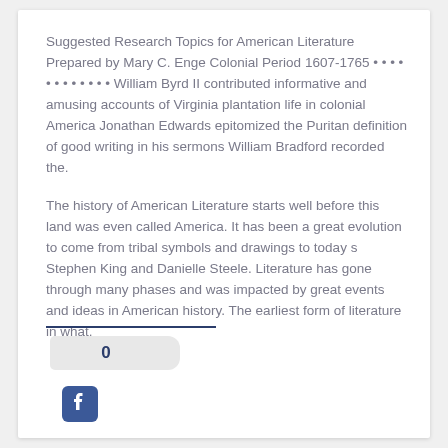Suggested Research Topics for American Literature Prepared by Mary C. Enge Colonial Period 1607-1765 • • • • • • • • • • • • William Byrd II contributed informative and amusing accounts of Virginia plantation life in colonial America Jonathan Edwards epitomized the Puritan definition of good writing in his sermons William Bradford recorded the.
The history of American Literature starts well before this land was even called America. It has been a great evolution to come from tribal symbols and drawings to today s Stephen King and Danielle Steele. Literature has gone through many phases and was impacted by great events and ideas in American history. The earliest form of literature in what.
[Figure (other): A badge/counter showing the number 0, and a Facebook share icon below it.]